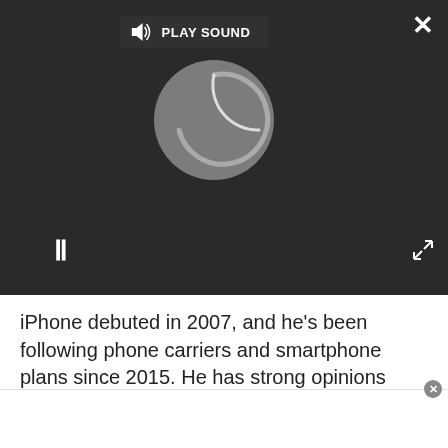[Figure (screenshot): Video player overlay with dark background showing a loading spinner circle, play sound button, pause button (||), close button (X), and expand button]
iPhone debuted in 2007, and he's been following phone carriers and smartphone plans since 2015. He has strong opinions about Apple, the Oakland Athletics, old movies and proper butchery techniques. Follow him at @PhilipMichaels.
MORE ABOUT...
LATEST
[Figure (photo): Thumbnail image with blue/purple background showing a phone]
[Figure (photo): Thumbnail image with warm yellow/brown tones]